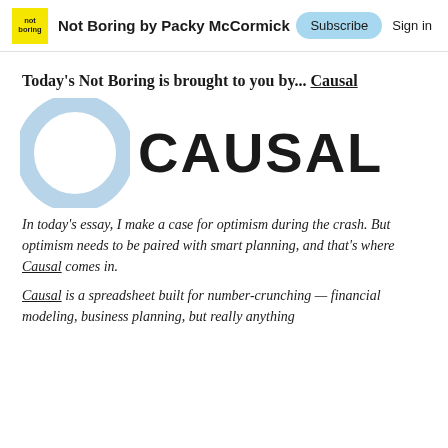Not Boring by Packy McCormick | Subscribe | Sign in
Today's Not Boring is brought to you by... Causal
[Figure (logo): Causal logo — a light blue circle ring on the left and the word CAUSAL in large bold black uppercase letters on the right]
In today's essay, I make a case for optimism during the crash. But optimism needs to be paired with smart planning, and that's where Causal comes in.
Causal is a spreadsheet built for number-crunching — financial modeling, business planning, but really anything